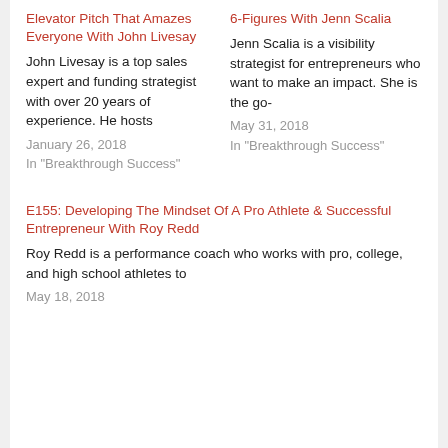Elevator Pitch That Amazes Everyone With John Livesay
John Livesay is a top sales expert and funding strategist with over 20 years of experience. He hosts
January 26, 2018
In "Breakthrough Success"
6-Figures With Jenn Scalia
Jenn Scalia is a visibility strategist for entrepreneurs who want to make an impact. She is the go-
May 31, 2018
In "Breakthrough Success"
E155: Developing The Mindset Of A Pro Athlete & Successful Entrepreneur With Roy Redd
Roy Redd is a performance coach who works with pro, college, and high school athletes to
May 18, 2018